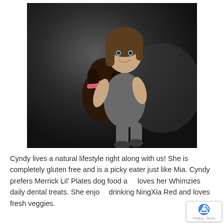[Figure (photo): A young girl with brown hair holding a dark brown small dog wearing a pink harness, photographed against a dark blurred background.]
Cyndy lives a natural lifestyle right along with us! She is completely gluten free and is a picky eater just like Mia. Cyndy prefers Merrick Lil' Plates dog food and loves her Whimzies daily dental treats. She enjoys drinking NingXia Red and loves fresh veggies.